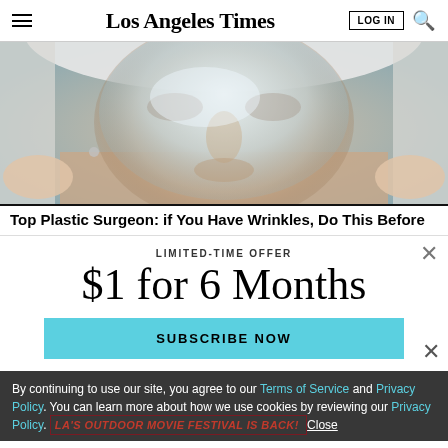Los Angeles Times
[Figure (photo): Close-up of a woman's face receiving a cosmetic facial treatment, with a clear gel or mask being applied]
Top Plastic Surgeon: if You Have Wrinkles, Do This Before
LIMITED-TIME OFFER
$1 for 6 Months
SUBSCRIBE NOW
By continuing to use our site, you agree to our Terms of Service and Privacy Policy. You can learn more about how we use cookies by reviewing our Privacy Policy. Close
LA'S OUTDOOR MOVIE FESTIVAL IS BACK!